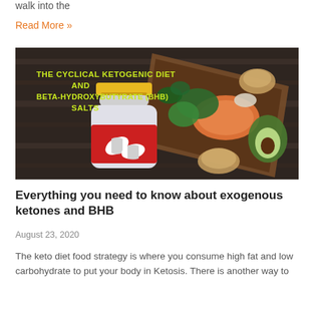walk into the
Read More »
[Figure (photo): Composite image showing a cartoon supplement bottle with red label and capsules on the left, and a wooden tray with ketogenic diet foods (salmon, broccoli, avocado, nuts, greens) on the right. Text overlay reads: THE CYCLICAL KETOGENIC DIET AND BETA-HYDROXYBUTYRATE (BHB) SALTS]
Everything you need to know about exogenous ketones and BHB
August 23, 2020
The keto diet food strategy is where you consume high fat and low carbohydrate to put your body in Ketosis. There is another way to